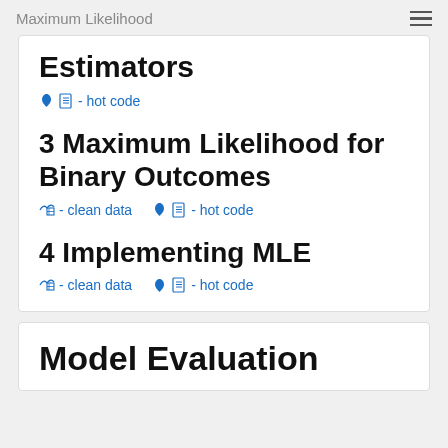Maximum Likelihood
Estimators
🔥 📄 - hot code
3 Maximum Likelihood for Binary Outcomes
🔀 ⊞ - clean data   🔥 📄 - hot code
4 Implementing MLE
🔀 ⊞ - clean data   🔥 📄 - hot code
Model Evaluation